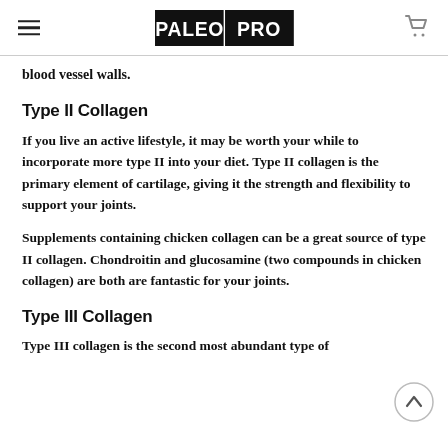PALEOPRO
blood vessel walls.
Type II Collagen
If you live an active lifestyle, it may be worth your while to incorporate more type II into your diet. Type II collagen is the primary element of cartilage, giving it the strength and flexibility to support your joints.
Supplements containing chicken collagen can be a great source of type II collagen. Chondroitin and glucosamine (two compounds in chicken collagen) are both are fantastic for your joints.
Type III Collagen
Type III collagen is the second most abundant type of